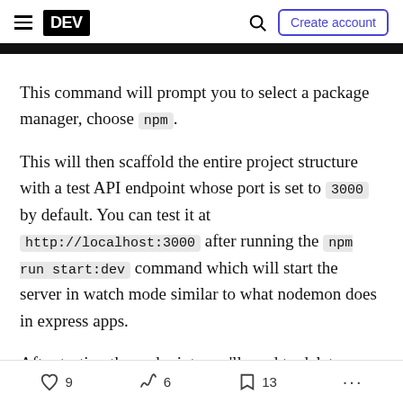DEV — Create account
This command will prompt you to select a package manager, choose npm.
This will then scaffold the entire project structure with a test API endpoint whose port is set to 3000 by default. You can test it at http://localhost:3000 after running the npm run start:dev command which will start the server in watch mode similar to what nodemon does in express apps.
After testing the endpoint, you'll need to delete some of the default files because you won't be needing
9  6  13  ...